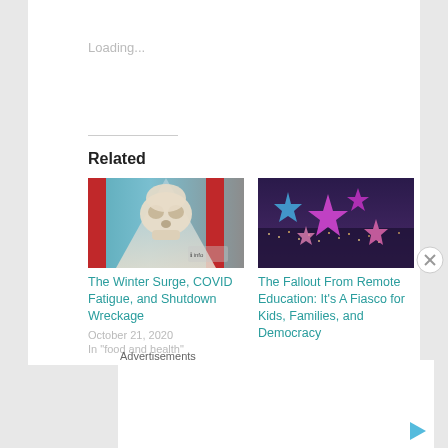Loading...
Related
[Figure (photo): Article thumbnail: painting of animal skull with red and blue abstract background]
The Winter Surge, COVID Fatigue, and Shutdown Wreckage
October 21, 2020
In "food and health"
[Figure (photo): Article thumbnail: night city scene with colorful star-shaped light decorations in purple, blue and pink]
The Fallout From Remote Education: It's A Fiasco for Kids, Families, and Democracy
Advertisements